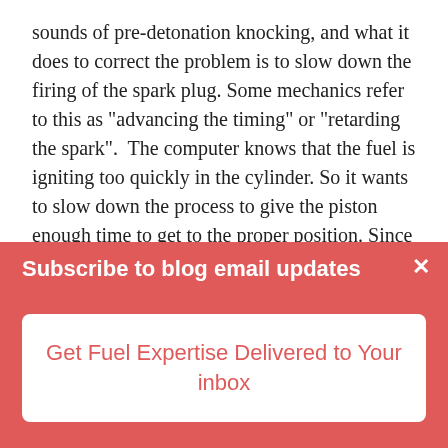sounds of pre-detonation knocking, and what it does to correct the problem is to slow down the firing of the spark plug. Some mechanics refer to this as "advancing the timing" or "retarding the spark".  The computer knows that the fuel is igniting too quickly in the cylinder. So it wants to slow down the process to give the piston enough time to get to the proper position. Since it can't do anything about how long it takes for the fuel to ignite once it is injected, what the computer does is wait a little bit longer in the process before it tells the spark plug to fire.

But what can happen at this is that instead of the fuel now igniting too early or even at the exact right time, many times the fuel will ignite after the piston has passed top dead center. This means the piston is on its way down when the fuel
Subscribe to blog email updates
Get Fuel Expertise Delivered to Your inbox